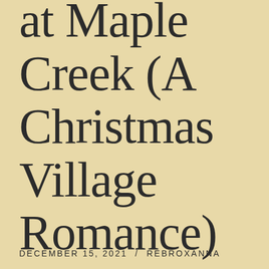at Maple Creek (A Christmas Village Romance)
DECEMBER 15, 2021 / REBROXANNA